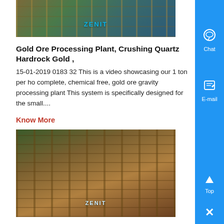[Figure (photo): Mining/processing plant with scaffolding and green/yellow equipment, ZENIT watermark]
Gold Ore Processing Plant, Crushing Quartz Hardrock Gold ,
15-01-2019 0183 32 This is a video showcasing our 1 ton per ho complete, chemical free, gold ore gravity processing plant This system is specifically designed for the small....
Know More
[Figure (photo): Outdoor gold ore processing plant with scaffolding, machinery and equipment, ZENIT watermark]
Gold Ore Processing ScienceDirect
Gold Ore Processing Project Development and Operations, Second Edition brings together all the technical and process...